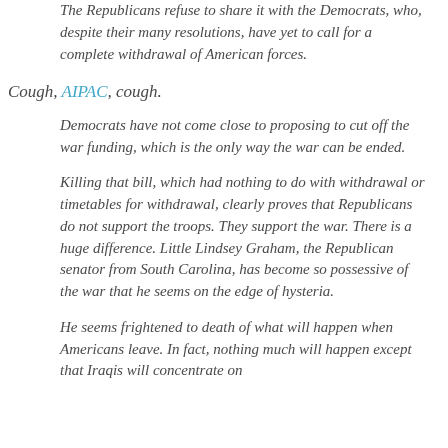The Republicans refuse to share it with the Democrats, who, despite their many resolutions, have yet to call for a complete withdrawal of American forces.
Cough, AIPAC, cough.
Democrats have not come close to proposing to cut off the war funding, which is the only way the war can be ended.
Killing that bill, which had nothing to do with withdrawal or timetables for withdrawal, clearly proves that Republicans do not support the troops. They support the war. There is a huge difference. Little Lindsey Graham, the Republican senator from South Carolina, has become so possessive of the war that he seems on the edge of hysteria.
He seems frightened to death of what will happen when Americans leave. In fact, nothing much will happen except that Iraqis will concentrate on